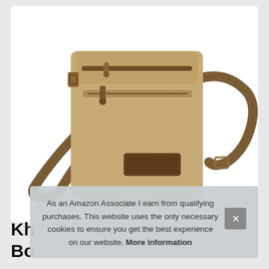[Figure (photo): A khaki/tan canvas crossbody messenger bag with brown leather accents, front zipper pocket, brown canvas shoulder strap with adjustable buckle, photographed on white background.]
Kh
Bo
As an Amazon Associate I earn from qualifying purchases. This website uses the only necessary cookies to ensure you get the best experience on our website. More information